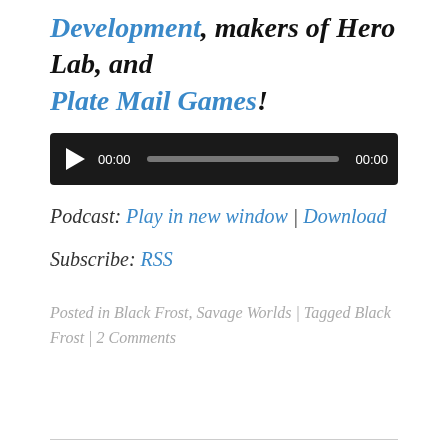Development, makers of Hero Lab, and Plate Mail Games!
[Figure (other): Audio player widget with play button, 00:00 time display, progress bar, and 00:00 end time on dark background]
Podcast: Play in new window | Download
Subscribe: RSS
Posted in Black Frost, Savage Worlds | Tagged Black Frost | 2 Comments